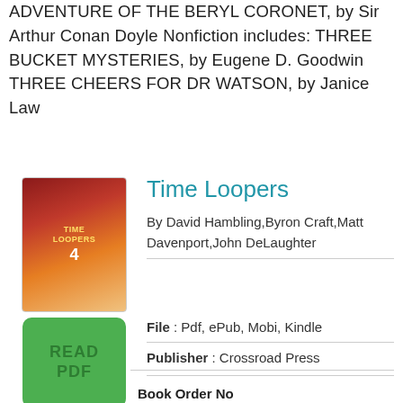ADVENTURE OF THE BERYL CORONET, by Sir Arthur Conan Doyle Nonfiction includes: THREE BUCKET MYSTERIES, by Eugene D. Goodwin THREE CHEERS FOR DR WATSON, by Janice Law
Time Loopers
By David Hambling,Byron Craft,Matt Davenport,John DeLaughter
File : Pdf, ePub, Mobi, Kindle
Publisher : Crossroad Press
Book Order No